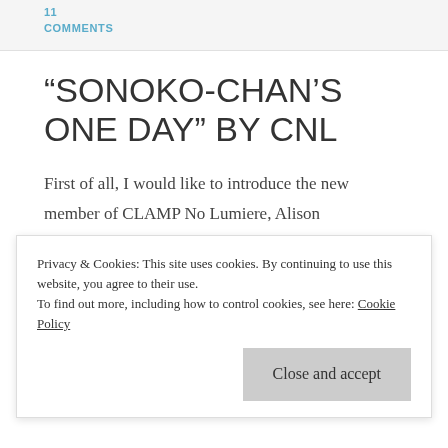11
COMMENTS
“SONOKO-CHAN’S ONE DAY” BY CNL
First of all, I would like to introduce the new member of CLAMP No Lumiere, Alison (ladydarkmoon), she’ll be filling the charge of
Privacy & Cookies: This site uses cookies. By continuing to use this website, you agree to their use.
To find out more, including how to control cookies, see here: Cookie Policy
Close and accept
Now on to the business, still followin’ my th…